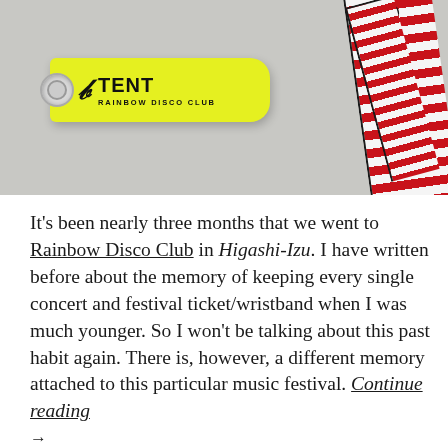[Figure (photo): A yellow fluorescent wristband/ticket tag reading 'TENT RAINBOW DISCO CLUB' with a white snap closure, alongside a red and white striped lanyard with dark text.]
It's been nearly three months that we went to Rainbow Disco Club in Higashi-Izu. I have written before about the memory of keeping every single concert and festival ticket/wristband when I was much younger. So I won't be talking about this past habit again. There is, however, a different memory attached to this particular music festival. Continue reading →